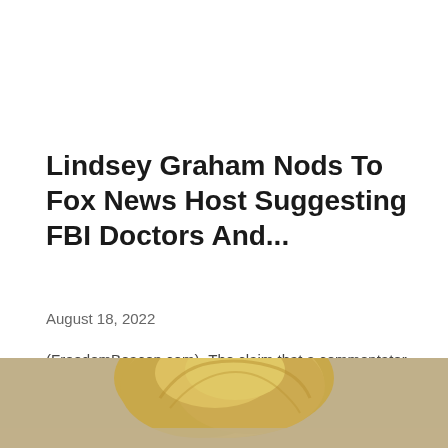Lindsey Graham Nods To Fox News Host Suggesting FBI Doctors And...
August 18, 2022
(FreedomBeacon.com)- The claim that a commentator on Fox News said the FBI planted evidence and doctored other pieces of evidence did not seem to...
[Figure (photo): Partial photo of a person with blonde/light hair, cropped at bottom of page, showing top of head only]